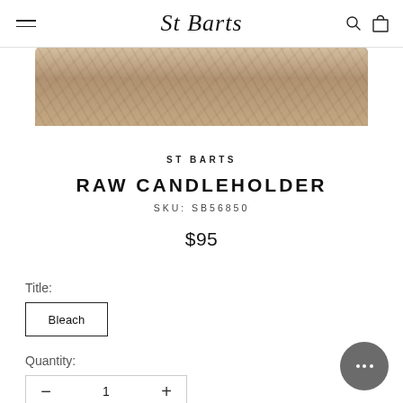ST Barts
[Figure (photo): Partial product image of a raw candleholder showing a natural textured surface with earthy brown tones, cropped at the top of the page]
ST BARTS
RAW CANDLEHOLDER
SKU: SB56850
$95
Title:
Bleach
Quantity:
1